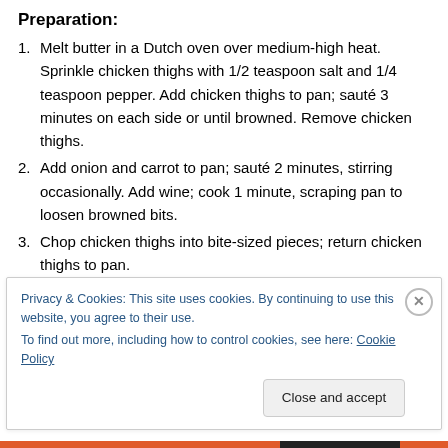Preparation:
Melt butter in a Dutch oven over medium-high heat. Sprinkle chicken thighs with 1/2 teaspoon salt and 1/4 teaspoon pepper. Add chicken thighs to pan; sauté 3 minutes on each side or until browned. Remove chicken thighs.
Add onion and carrot to pan; sauté 2 minutes, stirring occasionally. Add wine; cook 1 minute, scraping pan to loosen browned bits.
Chop chicken thighs into bite-sized pieces; return chicken thighs to pan.
Privacy & Cookies: This site uses cookies. By continuing to use this website, you agree to their use.
To find out more, including how to control cookies, see here: Cookie Policy
Close and accept